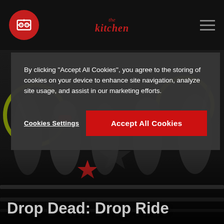The Kitchen — Navigation bar with logo
By clicking "Accept All Cookies", you agree to the storing of cookies on your device to enhance site navigation, analyze site usage, and assist in our marketing efforts.
Cookies Settings
Accept All Cookies
[Figure (photo): Group of excited people on a ride or attraction, black and white photo with green graphic elements in background]
Drop Dead: Drop Ride